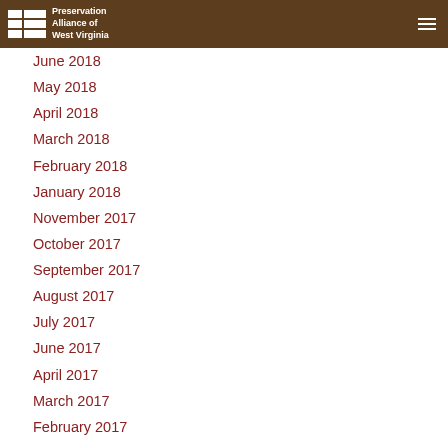Preservation Alliance of West Virginia
June 2018
May 2018
April 2018
March 2018
February 2018
January 2018
November 2017
October 2017
September 2017
August 2017
July 2017
June 2017
April 2017
March 2017
February 2017